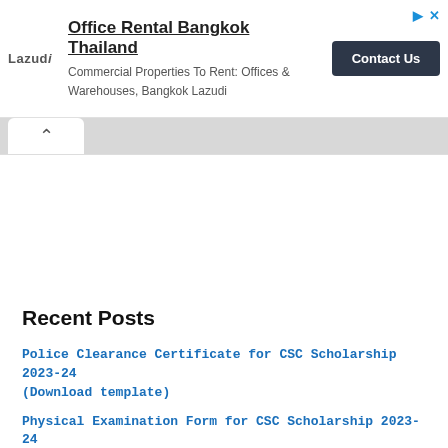[Figure (other): Advertisement banner for Lazudi: Office Rental Bangkok Thailand - Commercial Properties To Rent: Offices & Warehouses, Bangkok Lazudi. Contact Us button.]
^
Recent Posts
Police Clearance Certificate for CSC Scholarship 2023-24 (Download template)
Physical Examination Form for CSC Scholarship 2023-24 (Download template)
Formats of personal statement for Global UGRAD exchange program 2023 | Documentation for Global UGRAD exchange program 2023